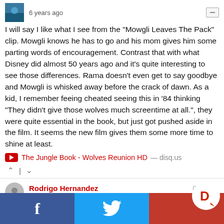6 years ago
I will say I like what I see from the "Mowgli Leaves The Pack" clip. Mowgli knows he has to go and his mom gives him some parting words of encouragement. Contrast that with what Disney did almost 50 years ago and it's quite interesting to see those differences. Rama doesn't even get to say goodbye and Mowgli is whisked away before the crack of dawn. As a kid, I remember feeing cheated seeing this in '84 thinking "They didn't give those wolves much screentime at all.", they were quite essential in the book, but just got pushed aside in the film. It seems the new film gives them some more time to shine at least.
The Jungle Book - Wolves Reunion HD — disq.us
Rodrigo Hernandez
6 years ago
Are you sure 240,000,000 render farm hours is correct!?